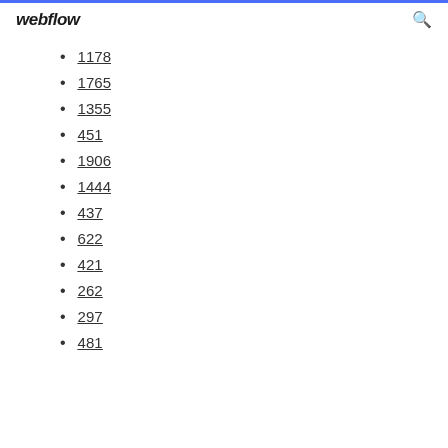webflow
1178
1765
1355
451
1906
1444
437
622
421
262
297
481